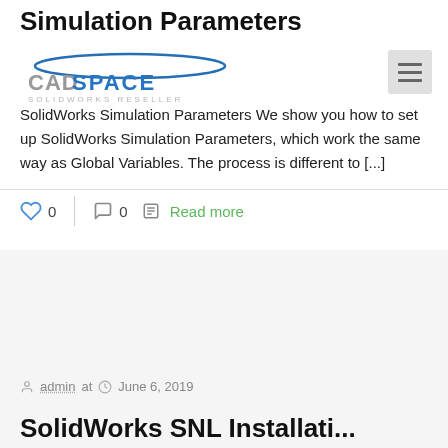Simulation Parameters
[Figure (logo): CADSpace logo with blue ellipse and text overlay]
SolidWorks Simulation Parameters We show you how to set up SolidWorks Simulation Parameters, which work the same way as Global Variables. The process is different to [...]
0  0  Read more
admin at  June 6, 2019
SolidWorks SNL Installati...